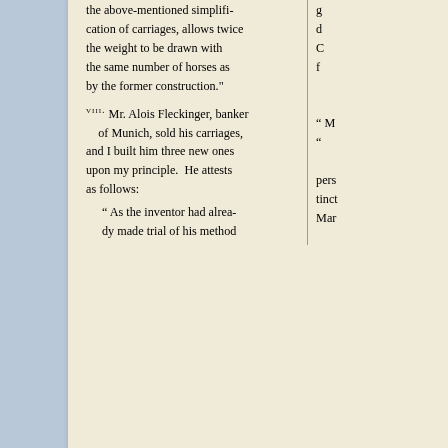the above-mentioned simplification of carriages, allows twice the weight to be drawn with the same number of horses as by the former construction."
VIII. Mr. Alois Fleckinger, banker of Munich, sold his carriages, and I built him three new ones upon my principle. He attests as follows:
" As the inventor had already made trial of his method
ACKERMANN'S PATENT MOVEABLE AXL
Excellency the English Ambassador; Baron von Eichthal, &c.) possess carriages made by me upon this new principle, from whom I might obtain similar attestations; but I consider the preceding pas-
—These thicker a round ho axle, wh axle, co that rec